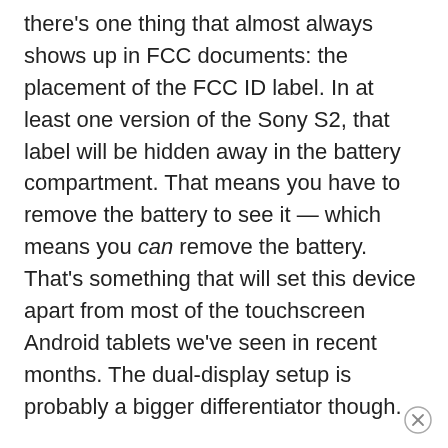there's one thing that almost always shows up in FCC documents: the placement of the FCC ID label. In at least one version of the Sony S2, that label will be hidden away in the battery compartment. That means you have to remove the battery to see it — which means you can remove the battery. That's something that will set this device apart from most of the touchscreen Android tablets we've seen in recent months. The dual-display setup is probably a bigger differentiator though.
The Sony S2 is expected to feature two 5.5 inch, 1024 x 480 pixel displays which can be used together or to display two separate apps at the